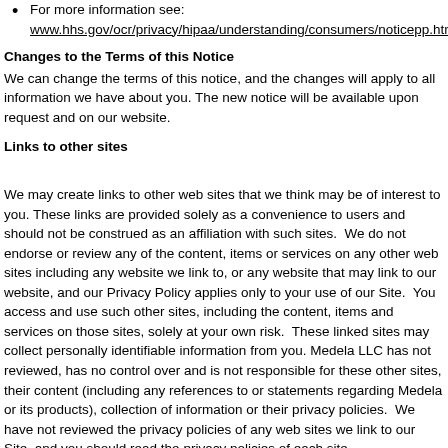For more information see: www.hhs.gov/ocr/privacy/hipaa/understanding/consumers/noticepp.htm
Changes to the Terms of this Notice
We can change the terms of this notice, and the changes will apply to all information we have about you. The new notice will be available upon request and on our website.
Links to other sites
We may create links to other web sites that we think may be of interest to you. These links are provided solely as a convenience to users and should not be construed as an affiliation with such sites.  We do not endorse or review any of the content, items or services on any other web sites including any website we link to, or any website that may link to our website, and our Privacy Policy applies only to your use of our Site.  You access and use such other sites, including the content, items and services on those sites, solely at your own risk.  These linked sites may collect personally identifiable information from you. Medela LLC has not reviewed, has no control over and is not responsible for these other sites, their content (including any references to or statements regarding Medela or its products), collection of information or their privacy policies.  We have not reviewed the privacy policies of any web sites we link to our Site, and you should read the privacy policies of each site